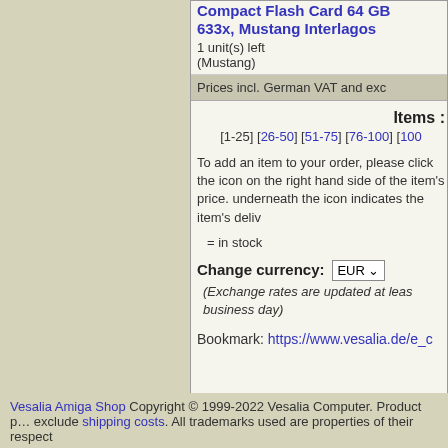Compact Flash Card 64GB 633x, Mustang Interlagos
1 unit(s) left
(Mustang)
Prices incl. German VAT and exc…
Items :
[1-25] [26-50] [51-75] [76-100] [100…
To add an item to your order, please click the icon on the right hand side of the item's price. underneath the icon indicates the item's deliv…
= in stock
Change currency: EUR
(Exchange rates are updated at leas… business day)
Bookmark: https://www.vesalia.de/e_c…
Vesalia Amiga Shop Copyright © 1999-2022 Vesalia Computer. Product pr… exclude shipping costs. All trademarks used are properties of their respect…